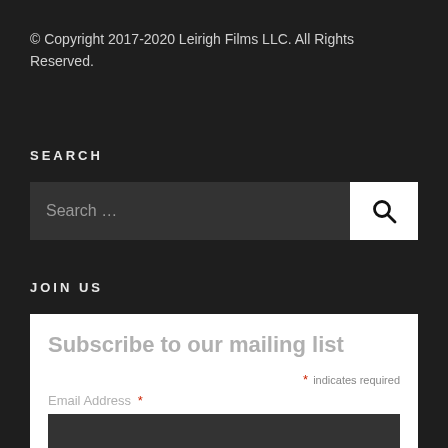© Copyright 2017-2020 Leirigh Films LLC. All Rights Reserved.
SEARCH
[Figure (other): Search bar with text input field showing 'Search …' placeholder and a white search button with magnifying glass icon]
JOIN US
Subscribe to our mailing list
* indicates required
Email Address *